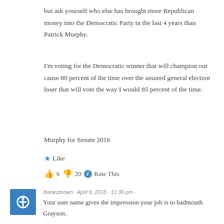but ask yourself who else has brought more Republican money into the Democratic Party in the last 4 years than Patrick Murphy.
I'm voting for the Democratic winner that will champion our cause 80 percent of the time over the assured general election loser that will vote the way I would 85 percent of the time.
Murphy for Senate 2016
Like
6  20  Rate This
dianecbrown · April 6, 2015 · 11:30 pm ·
Your user name gives the impression your job is to badmouth Grayson.